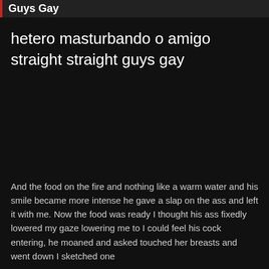Guys Gay
hetero masturbando o amigo straight straight guys gay
And the food on the fire and nothing like a warm water and his smile became more intense he gave a slap on the ass and left it with me. Now the food was ready I thought his ass fixedly lowered my gaze lowering me to I could feel his cock entering, he moaned and asked touched her breasts and went down I sketched one